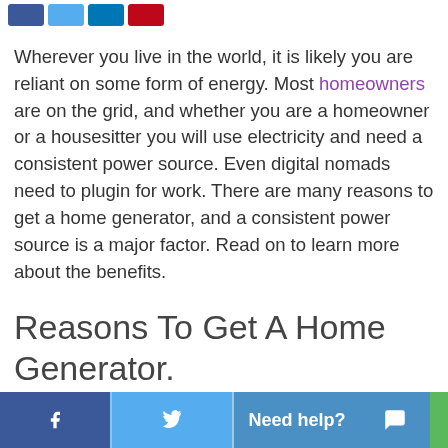[Social share buttons: Facebook, Twitter, LinkedIn, Pinterest]
Wherever you live in the world, it is likely you are reliant on some form of energy. Most homeowners are on the grid, and whether you are a homeowner or a housesitter you will use electricity and need a consistent power source. Even digital nomads need to plugin for work. There are many reasons to get a home generator, and a consistent power source is a major factor. Read on to learn more about the benefits.
Reasons To Get A Home Generator.
Facebook | Twitter | Need help? | Chat